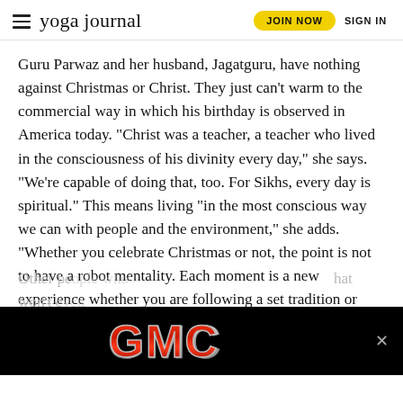yoga journal | JOIN NOW | SIGN IN
Guru Parwaz and her husband, Jagatguru, have nothing against Christmas or Christ. They just can’t warm to the commercial way in which his birthday is observed in America today. “Christ was a teacher, a teacher who lived in the consciousness of his divinity every day,” she says. “We’re capable of doing that, too. For Sikhs, every day is spiritual.” This means living “in the most conscious way we can with people and the environment,” she adds. “Whether you celebrate Christmas or not, the point is not to have a robot mentality. Each moment is a new experience whether you are following a set tradition or experiencing something completely new. I know so many people who wear themselves out trying to have the ‘perfect Christmas,’ and they don’t even know why they’re doing it.
Other pe… hat won’t e…
[Figure (other): GMC advertisement banner with red GMC logo text on black background with a close (X) button]